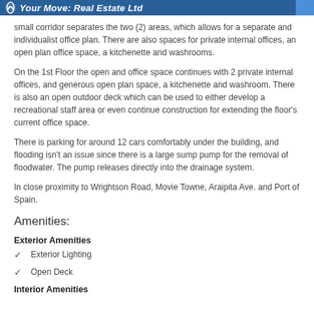Your Move: Real Estate Ltd
small corridor separates the two (2) areas, which allows for a separate and individualist office plan. There are also spaces for private internal offices, an open plan office space, a kitchenette and washrooms.
On the 1st Floor the open and office space continues with 2 private internal offices, and generous open plan space, a kitchenette and washroom. There is also an open outdoor deck which can be used to either develop a recreational staff area or even continue construction for extending the floor's current office space.
There is parking for around 12 cars comfortably under the building, and flooding isn't an issue since there is a large sump pump for the removal of floodwater. The pump releases directly into the drainage system.
In close proximity to Wrightson Road, Movie Towne, Araipita Ave. and Port of Spain.
Amenities:
Exterior Amenities
Exterior Lighting
Open Deck
Interior Amenities